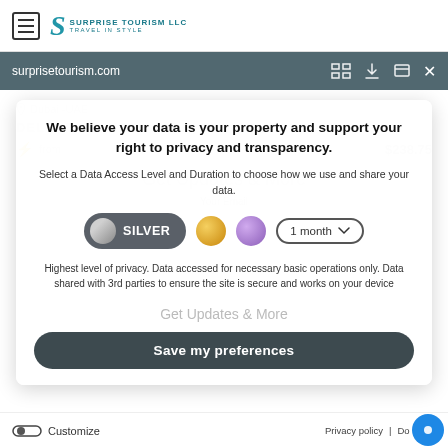Surprise Tourism LLC - Travel in Style logo and menu icon
[Figure (screenshot): Browser URL bar showing surprisetourism.com with navigation icons]
We believe your data is your property and support your right to privacy and transparency.
Select a Data Access Level and Duration to choose how we use and share your data.
[Figure (infographic): Privacy level selector showing SILVER selected (grey toggle pill), gold circle, purple circle, and 1 month duration dropdown]
Highest level of privacy. Data accessed for necessary basic operations only. Data shared with 3rd parties to ensure the site is secure and works on your device
Save my preferences
Customize | Privacy policy | Do Not S...